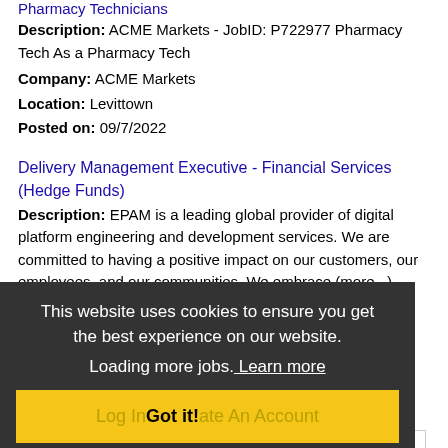Pharmacy Technicians
Description: ACME Markets - JobID: P722977 Pharmacy Tech As a Pharmacy Tech
Company: ACME Markets
Location: Levittown
Posted on: 09/7/2022
Delivery Management Executive - Financial Services (Hedge Funds)
Description: EPAM is a leading global provider of digital platform engineering and development services. We are committed to having a positive impact on our customers, our employees, and our communities. We embrace (more...)
Company: EPAM Systems
Location: Westport
Posted on: 09/7/2022
Loading more jobs.
This website uses cookies to ensure you get the best experience on our website. Learn more
Log In Got it! ate An Account
Username: